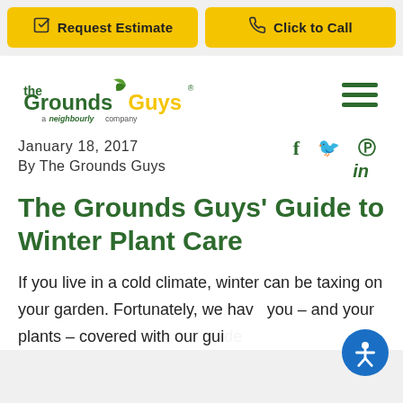Request Estimate | Click to Call
[Figure (logo): The Grounds Guys logo - a neighbourly company]
January 18, 2017
By The Grounds Guys
The Grounds Guys' Guide to Winter Plant Care
If you live in a cold climate, winter can be taxing on your garden. Fortunately, we have you – and your plants – covered with our guide